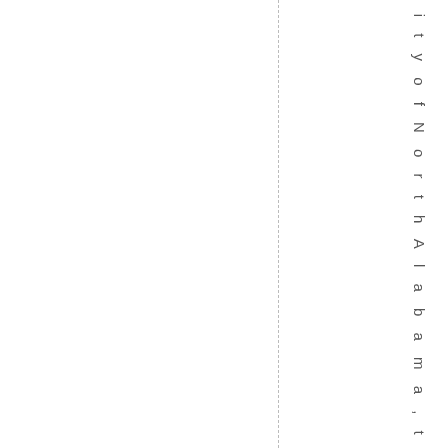s i t y o f N o r t h A l a b a m a , t o p r e s e n t t h